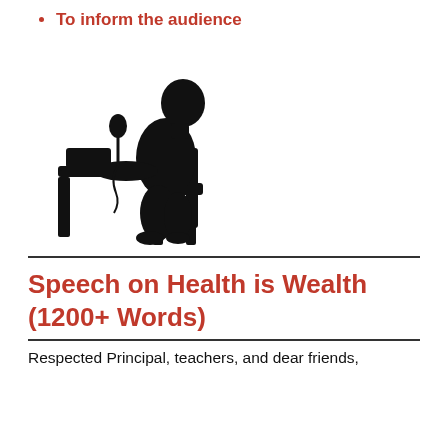To inform the audience
[Figure (illustration): Silhouette of a person sitting at a desk with a microphone, facing left, appearing to give a speech or presentation.]
Speech on Health is Wealth (1200+ Words)
Respected Principal, teachers, and dear friends,